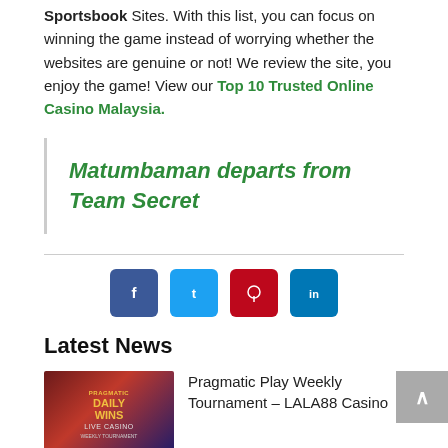Sportsbook Sites. With this list, you can focus on winning the game instead of worrying whether the websites are genuine or not! We review the site, you enjoy the game! View our Top 10 Trusted Online Casino Malaysia.
Matumbaman departs from Team Secret
[Figure (infographic): Four social share buttons: Facebook (dark blue), Twitter (light blue), Pinterest (red), LinkedIn (blue)]
Latest News
[Figure (photo): Casino promotional image featuring Daily Wins Live Casino banner with people and gold decorations]
Pragmatic Play Weekly Tournament – LALA88 Casino